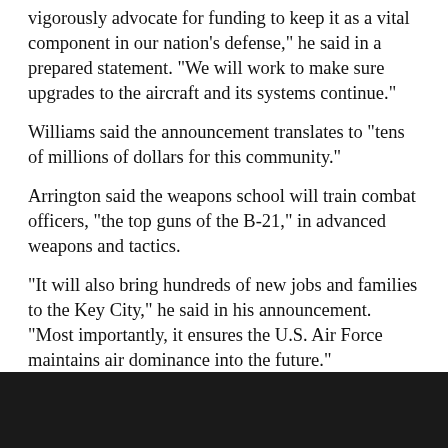vigorously advocate for funding to keep it as a vital component in our nation’s defense," he said in a prepared statement. "We will work to make sure upgrades to the aircraft and its systems continue."
Williams said the announcement translates to "tens of millions of dollars for this community."
Arrington said the weapons school will train combat officers, "the top guns of the B-21," in advanced weapons and tactics.
"It will also bring hundreds of new jobs and families to the Key City," he said in his announcement. "Most importantly, it ensures the U.S. Air Force maintains air dominance into the future."
Just the start